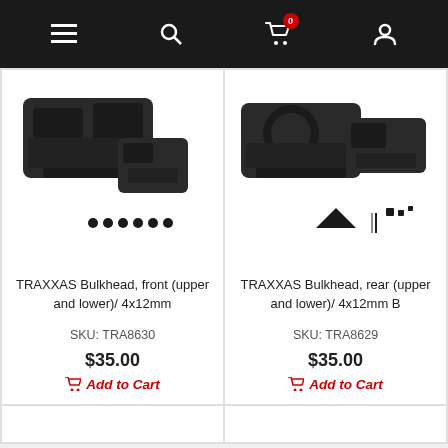Navigation bar with menu, search, cart (0 items), and account icons
[Figure (photo): TRAXXAS Bulkhead front upper and lower parts with screws on white background]
TRAXXAS Bulkhead, front (upper and lower)/ 4x12mm
SKU: TRA8630
$35.00
Add to Cart
[Figure (photo): TRAXXAS Bulkhead rear upper and lower parts with screws and small components on white background]
TRAXXAS Bulkhead, rear (upper and lower)/ 4x12mm B
SKU: TRA8629
$35.00
Add to Cart